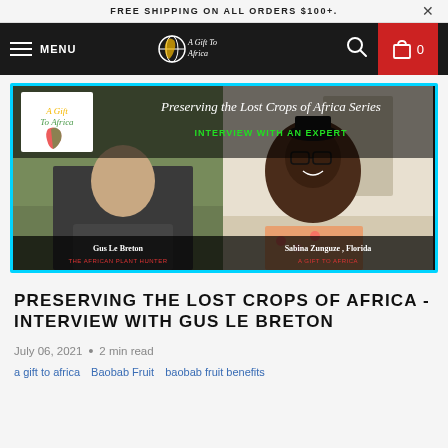FREE SHIPPING ON ALL ORDERS $100+.
MENU  A Gift To Africa  0
[Figure (screenshot): Video thumbnail for 'Preserving the Lost Crops of Africa Series - Interview with an Expert' featuring Gus Le Breton (The African Plant Hunter) on the left and Sabina Zunguze, Florida (A Gift to Africa) on the right, with the 'A Gift to Africa' logo in the top left corner.]
PRESERVING THE LOST CROPS OF AFRICA - INTERVIEW WITH GUS LE BRETON
July 06, 2021  •  2 min read
a gift to africa   Baobab Fruit   baobab fruit benefits